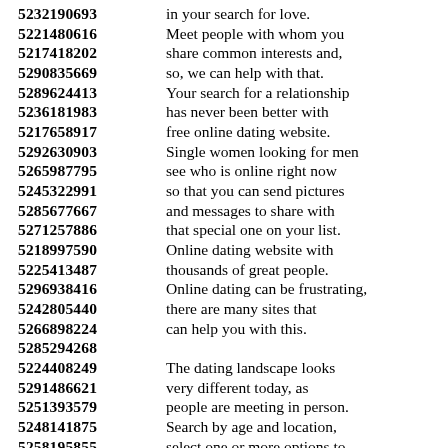5232190693 in your search for love.
5221480616 Meet people with whom you
5217418202 share common interests and,
5290835669 so, we can help with that.
5289624413 Your search for a relationship
5236181983 has never been better with
5217658917 free online dating website.
5292630903 Single women looking for men
5265987795 see who is online right now
5245322991 so that you can send pictures
5285677667 and messages to share with
5271257886 that special one on your list.
5218997590 Online dating website with
5225413487 thousands of great people.
5296938416 Online dating can be frustrating,
5242805440 there are many sites that
5266898224 can help you with this.
5285294268
5224408249 The dating landscape looks
5291486621 very different today, as
5251393579 people are meeting in person.
5248141875 Search by age and location,
5258195855 select one or more options to
5281688873 find someone special who
5261736311 ticks all the requirements.
5318181740 Dating site for people looking